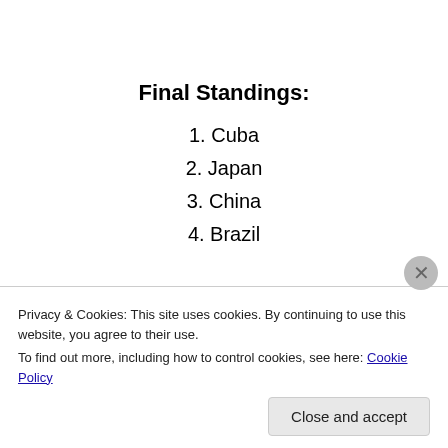Final Standings:
1. Cuba
2. Japan
3. China
4. Brazil
Pool B
Privacy & Cookies: This site uses cookies. By continuing to use this website, you agree to their use.
To find out more, including how to control cookies, see here: Cookie Policy
Close and accept